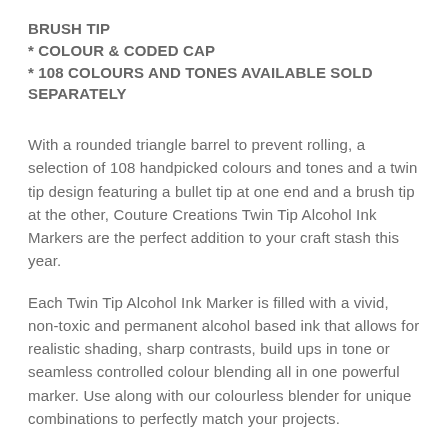BRUSH TIP
* COLOUR & CODED CAP
* 108 COLOURS AND TONES AVAILABLE SOLD SEPARATELY
With a rounded triangle barrel to prevent rolling, a selection of 108 handpicked colours and tones and a twin tip design featuring a bullet tip at one end and a brush tip at the other, Couture Creations Twin Tip Alcohol Ink Markers are the perfect addition to your craft stash this year.
Each Twin Tip Alcohol Ink Marker is filled with a vivid, non-toxic and permanent alcohol based ink that allows for realistic shading, sharp contrasts, build ups in tone or seamless controlled colour blending all in one powerful marker. Use along with our colourless blender for unique combinations to perfectly match your projects.